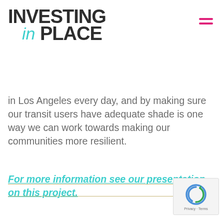INVESTING in PLACE
in Los Angeles every day, and by making sure our transit users have adequate shade is one way we can work towards making our communities more resilient.
For more information see our presentation on this project.